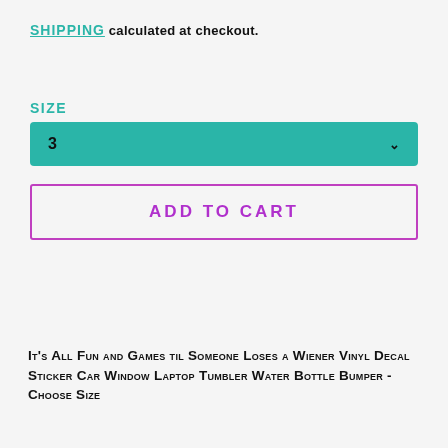Shipping calculated at checkout.
Size
3
ADD TO CART
It's All Fun and Games til Someone Loses a Wiener Vinyl Decal Sticker Car Window Laptop Tumbler Water Bottle Bumper - Choose Size